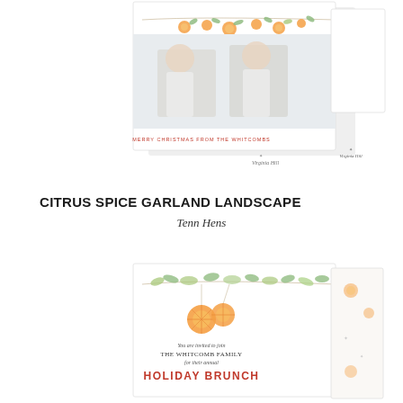[Figure (photo): Christmas card design showing two children smiling, with citrus fruit and greenery garland decoration at the top, text reading 'MERRY CHRISTMAS FROM THE WHITCOMBS' in red, and a signature/logo below on the back of the card. Card is shown in landscape orientation with a second panel (back of card) visible behind it.]
CITRUS SPICE GARLAND LANDSCAPE
Tenn Hens
[Figure (photo): Invitation card design with citrus fruit and greenery garland decoration. Text reads 'You are invited to join THE WHITCOMB FAMILY for their annual HOLIDAY BRUNCH'. Shown in landscape with a second narrow panel (pattern side) visible to the right.]